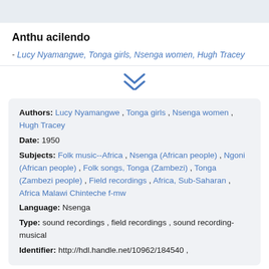Anthu acilendo
- Lucy Nyamangwe, Tonga girls, Nsenga women, Hugh Tracey
Authors: Lucy Nyamangwe , Tonga girls , Nsenga women , Hugh Tracey
Date: 1950
Subjects: Folk music--Africa , Nsenga (African people) , Ngoni (African people) , Folk songs, Tonga (Zambezi) , Tonga (Zambezi people) , Field recordings , Africa, Sub-Saharan , Africa Malawi Chinteche f-mw
Language: Nsenga
Type: sound recordings , field recordings , sound recording-musical
Identifier: http://hdl.handle.net/10962/184540 ,